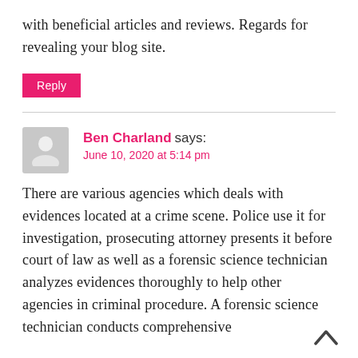with beneficial articles and reviews. Regards for revealing your blog site.
Reply
Ben Charland says:
June 10, 2020 at 5:14 pm
There are various agencies which deals with evidences located at a crime scene. Police use it for investigation, prosecuting attorney presents it before court of law as well as a forensic science technician analyzes evidences thoroughly to help other agencies in criminal procedure. A forensic science technician conducts comprehensive